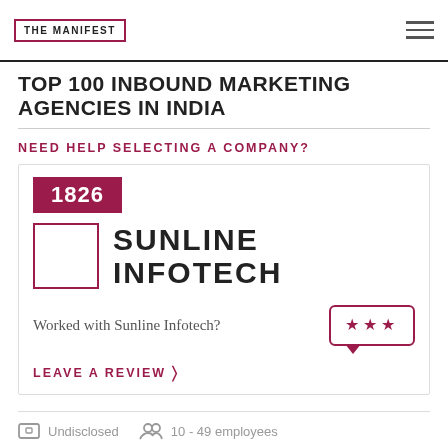THE MANIFEST
TOP 100 INBOUND MARKETING AGENCIES IN INDIA
NEED HELP SELECTING A COMPANY?
1826
SUNLINE INFOTECH
Worked with Sunline Infotech?
LEAVE A REVIEW >
Undisclosed   10 - 49 employees